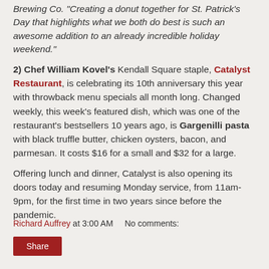Brewing Co. "Creating a donut together for St. Patrick's Day that highlights what we both do best is such an awesome addition to an already incredible holiday weekend."
2) Chef William Kovel's Kendall Square staple, Catalyst Restaurant, is celebrating its 10th anniversary this year with throwback menu specials all month long. Changed weekly, this week's featured dish, which was one of the restaurant's bestsellers 10 years ago, is Gargenilli pasta with black truffle butter, chicken oysters, bacon, and parmesan. It costs $16 for a small and $32 for a large.
Offering lunch and dinner, Catalyst is also opening its doors today and resuming Monday service, from 11am-9pm, for the first time in two years since before the pandemic.
Richard Auffrey at 3:00 AM    No comments: